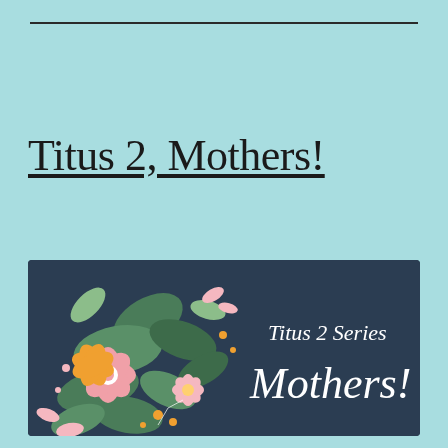Titus 2, Mothers!
[Figure (illustration): Dark navy banner with floral illustration on the left side featuring pink, orange, and green flowers and leaves. Cursive white text on the right reads 'Titus 2 Series Mothers!']